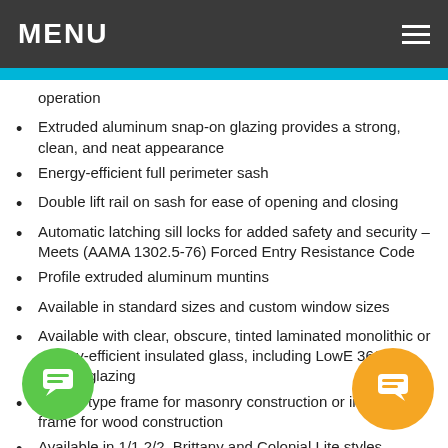MENU
operation
Extruded aluminum snap-on glazing provides a strong, clean, and neat appearance
Energy-efficient full perimeter sash
Double lift rail on sash for ease of opening and closing
Automatic latching sill locks for added safety and security – Meets (AAMA 1302.5-76) Forced Entry Resistance Code
Profile extruded aluminum muntins
Available in standard sizes and custom window sizes
Available with clear, obscure, tinted laminated monolithic or energy-efficient insulated glass, including LowE 366 energy glazing
Flange type frame for masonry construction or integral fin frame for wood construction
Available in 1/1,2/2, Brittany and Colonial Lite styles
Available in White powder coat or Bronze ESP painted